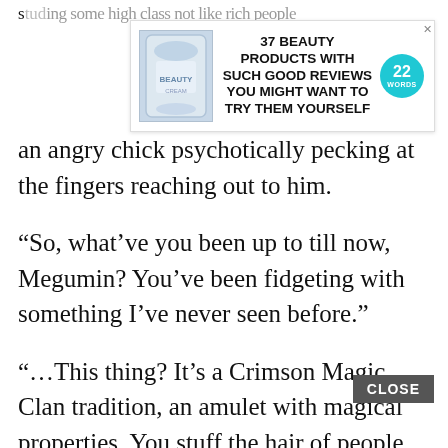studying some high class not like rich people s… d…
[Figure (infographic): Advertisement banner: '37 BEAUTY PRODUCTS WITH SUCH GOOD REVIEWS YOU MIGHT WANT TO TRY THEM YOURSELF' with product image and a teal badge showing '22']
an angry chick psychotically pecking at the fingers reaching out to him.
“So, what’ve you been up to till now, Megumin? You’ve been fidgeting with something I’ve never seen before.”
“…This thing? It’s a Crimson Magic Clan tradition, an amulet with magical properties. You stuff the hair of people with powerful magic into an amulet, then give it to a comrade. It might only be psychological reassurance, but I still want to gift you this for your birthday, since you die so often.”